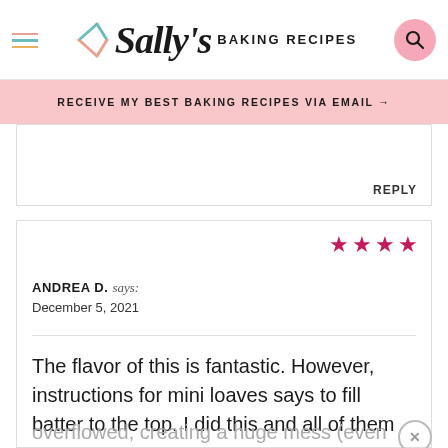[Figure (logo): Sally's Baking Recipes logo with hamburger menu and search button]
RECEIVE MY BEST BAKING RECIPES VIA EMAIL →
REPLY
ANDREA D. says:
December 5, 2021
The flavor of this is fantastic. However, instructions for mini loaves says to fill batter to the top. I did this and all of them
overflowed, creating a huge mess (even on the baking pan I had them on) and